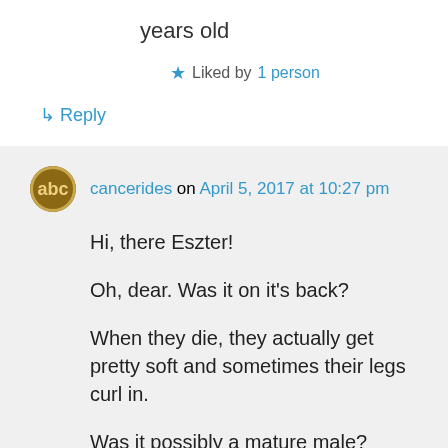years old
★ Liked by 1 person
↳ Reply
cancerides on April 5, 2017 at 10:27 pm
Hi, there Eszter!

Oh, dear. Was it on it's back?

When they die, they actually get pretty soft and sometimes their legs curl in.

Was it possibly a mature male?

Tom